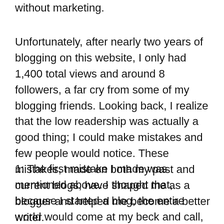without marketing.
Unfortunately, after nearly two years of blogging on this website, I only had 1,400 total views and around 8 followers, a far cry from some of my blogging friends. Looking back, I realize that the low readership was actually a good thing; I could make mistakes and few people would notice. These mistakes, made on both my past and current blogs, have shaped me as a blogger and helped me become a better writer.
1: The first mistake I made was mentioned above. I thought that, because I started a blog, the entire world would come at my beck and call, turning me